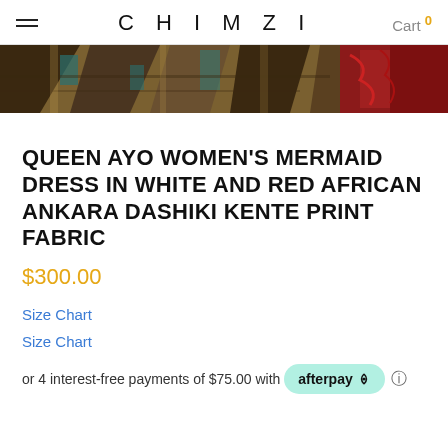CHIMZI | Cart 0
[Figure (photo): Close-up of African Ankara/Kente print fabric in brown, teal, and red patterns]
QUEEN AYO WOMEN'S MERMAID DRESS IN WHITE AND RED AFRICAN ANKARA DASHIKI KENTE PRINT FABRIC
$300.00
Size Chart
Size Chart
or 4 interest-free payments of $75.00 with afterpay